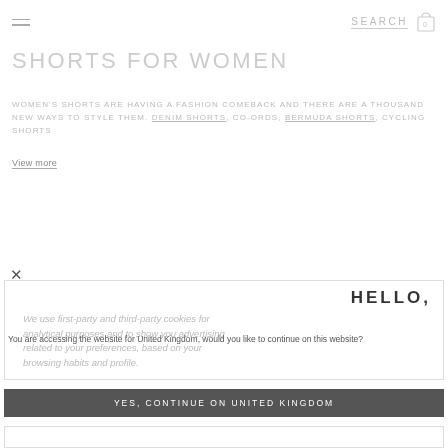SEARCH  [0 cart]
SHORTS FOR WOMEN
WOMEN'S SHORTS ARE HAVING A FASHION COMEBACK AND THERE ARE A THOUSAND NEW WAYS TO STYLE THEM. DENIM SHORTS, CO-ORDS, BERMUDA SHORTS, CYCLING SHORTS
View more
HELLO,
We use first-party and third-party cookies for analytical purposes and to show you advertising related to your preferences, based on your browsing habits and profile.
You are accessing the website for United Kingdom, would you like to continue on this website?
YES, CONTINUE ON UNITED KINGDOM